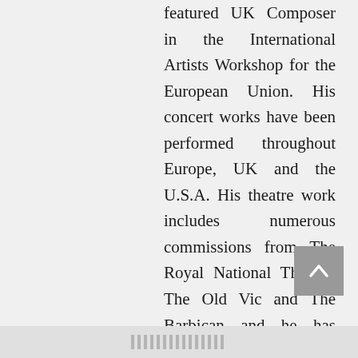featured UK Composer in the International Artists Workshop for the European Union. His concert works have been performed throughout Europe, UK and the U.S.A. His theatre work includes numerous commissions from The Royal National Theatre, The Old Vic and The Barbican and he has written and collaborated on musicals including 'Force 9 & ½' with John Nicholson (Peepolykus) which won a Musical Theatre Award at the Edinburgh Festival and three commissioned musicals collaborating with writer and lyricist Jenif...